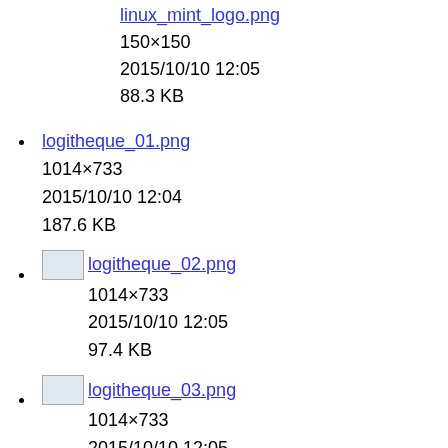linux_mint_logo.png
150×150
2015/10/10 12:05
88.3 KB
logitheque_01.png
1014×733
2015/10/10 12:04
187.6 KB
logitheque_02.png
1014×733
2015/10/10 12:05
97.4 KB
logitheque_03.png
1014×733
2015/10/10 12:05
89.1 KB
logitheque_04.png
642×215